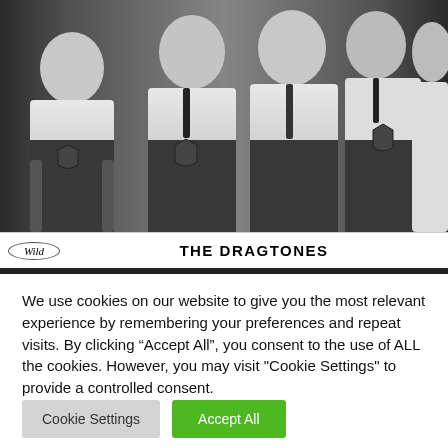[Figure (photo): Black and white photograph of five men wearing white V-neck sweaters with a shield logo, posed together in a group. Caption area shows 'Wild Records' logo on the left and 'THE DRAGTONES' in bold text in the center.]
THE DRAGTONES
We use cookies on our website to give you the most relevant experience by remembering your preferences and repeat visits. By clicking “Accept All”, you consent to the use of ALL the cookies. However, you may visit "Cookie Settings" to provide a controlled consent.
Cookie Settings
Accept All